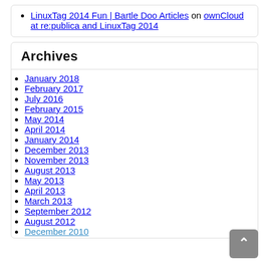LinuxTag 2014 Fun | Bartle Doo Articles on ownCloud at re:publica and LinuxTag 2014
Archives
January 2018
February 2017
July 2016
February 2015
May 2014
April 2014
January 2014
December 2013
November 2013
August 2013
May 2013
April 2013
March 2013
September 2012
August 2012
December 2010